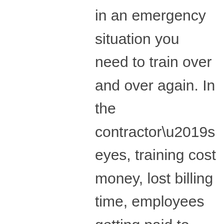in an emergency situation you need to train over and over again. In the contractor’s eyes, training cost money, lost billing time, employees getting paid to train and not work on billed work.